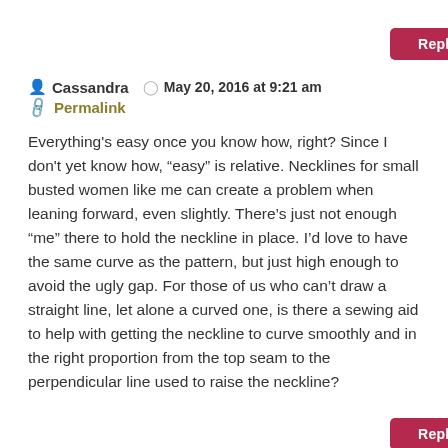Reply
Cassandra   May 20, 2016 at 9:21 am
Permalink
Everything's easy once you know how, right? Since I don't yet know how, “easy” is relative. Necklines for small busted women like me can create a problem when leaning forward, even slightly. There’s just not enough “me” there to hold the neckline in place. I’d love to have the same curve as the pattern, but just high enough to avoid the ugly gap. For those of us who can’t draw a straight line, let alone a curved one, is there a sewing aid to help with getting the neckline to curve smoothly and in the right proportion from the top seam to the perpendicular line used to raise the neckline?
Reply